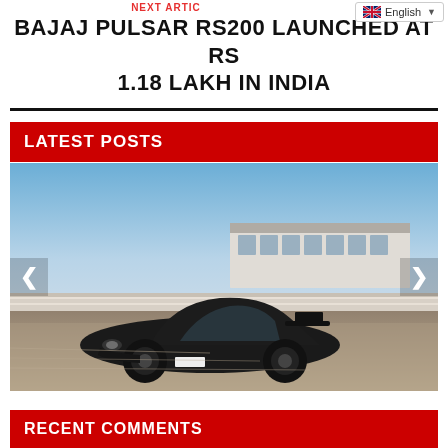NEXT ARTICLE
BAJAJ PULSAR RS200 LAUNCHED AT RS 1.18 LAKH IN INDIA
LATEST POSTS
[Figure (photo): Black sports car (Porsche) driving on a race track, photographed from the front-left angle at low angle. Modern pit building visible in background under blue sky.]
RECENT COMMENTS